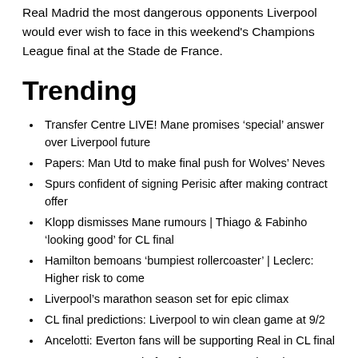Real Madrid the most dangerous opponents Liverpool would ever wish to face in this weekend's Champions League final at the Stade de France.
Trending
Transfer Centre LIVE! Mane promises 'special' answer over Liverpool future
Papers: Man Utd to make final push for Wolves' Neves
Spurs confident of signing Perisic after making contract offer
Klopp dismisses Mane rumours | Thiago & Fabinho 'looking good' for CL final
Hamilton bemoans 'bumpiest rollercoaster' | Leclerc: Higher risk to come
Liverpool's marathon season set for epic climax
CL final predictions: Liverpool to win clean game at 9/2
Ancelotti: Everton fans will be supporting Real in CL final
Benzema to score before four scorers: When does...